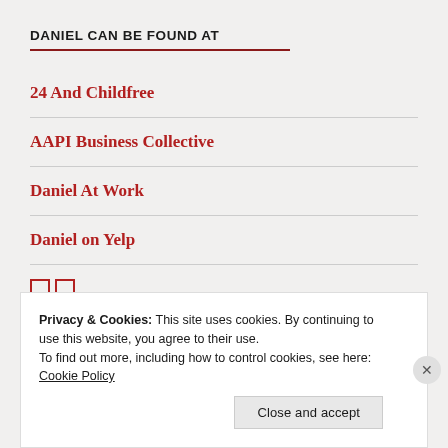DANIEL CAN BE FOUND AT
24 And Childfree
AAPI Business Collective
Daniel At Work
Daniel on Yelp
□□
Privacy & Cookies: This site uses cookies. By continuing to use this website, you agree to their use. To find out more, including how to control cookies, see here: Cookie Policy
Close and accept